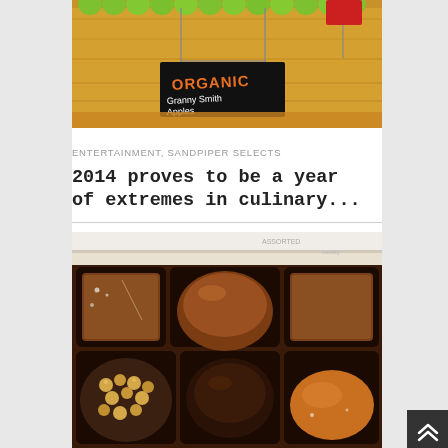[Figure (photo): Photo of organic Granny Smith apples displayed on a wooden shelf in a store, with a black sign reading 'ORGANIC Granny Smith Apples']
ENTERTAINMENT, SANDPIPER SELECTS
2014 proves to be a year of extremes in culinary...
[Figure (photo): Photo of a box of assorted chocolates, including caramels, truffles, and nut-topped chocolates in dark paper cups]